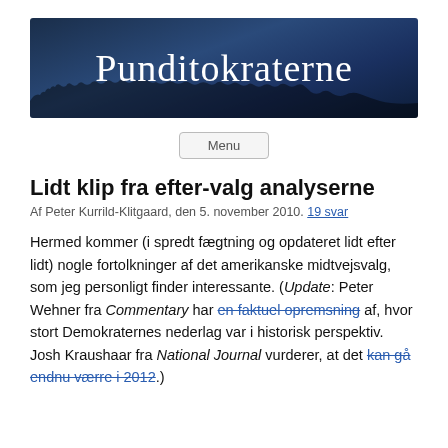[Figure (illustration): Website banner header for 'Punditokraterne' blog — dark blue gradient background with silhouettes of people at the bottom and large white serif text reading 'Punditokraterne']
Menu
Lidt klip fra efter-valg analyserne
Af Peter Kurrild-Klitgaard, den 5. november 2010. 19 svar
Hermed kommer (i spredt fægtning og opdateret lidt efter lidt) nogle fortolkninger af det amerikanske midtvejsvalg, som jeg personligt finder interessante. (Update: Peter Wehner fra Commentary har en faktuel opremsning af, hvor stort Demokraternes nederlag var i historisk perspektiv. Josh Kraushaar fra National Journal vurderer, at det kan gå endnu værre i 2012.)